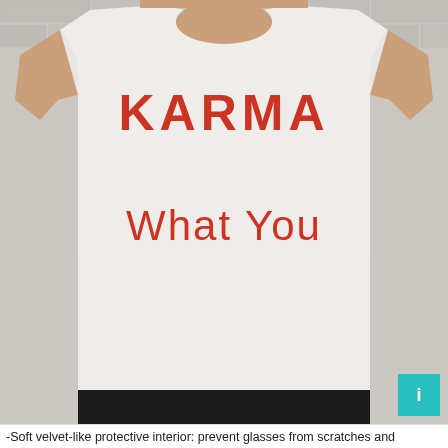[Figure (photo): A person wearing a white t-shirt with 'KARMA' and 'What You' printed in red text on the front, photographed against a white brick wall background. A teal square button icon is visible in the lower right of the image.]
-Soft velvet-like protective interior: prevent glasses from scratches and